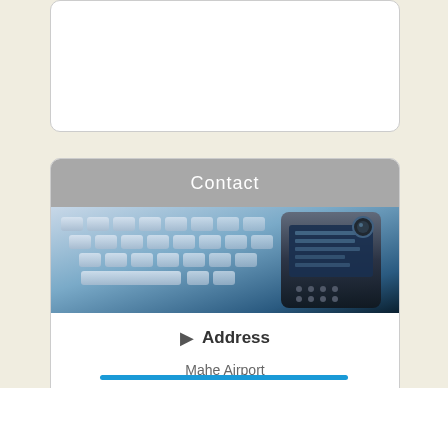[Figure (other): White rounded rectangle box, partially visible at top of page]
Contact
[Figure (photo): Photo of a keyboard and mobile phone with blue tones]
Address
Mahe Airport
5th June Ave
Victoria
Mahe Island
Seychelles